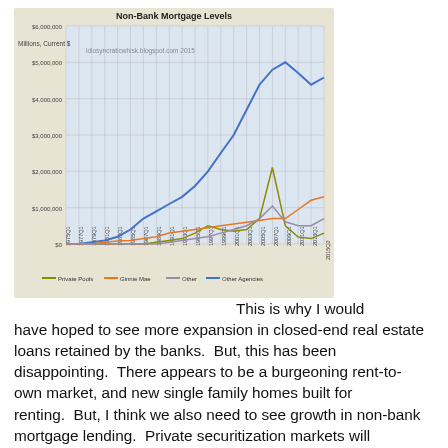[Figure (line-chart): Non-Bank Mortgage Levels]
This is why I would have hoped to see more expansion in closed-end real estate loans retained by the banks.  But, this has been disappointing.  There appears to be a burgeoning rent-to-own market, and new single family homes built for renting.  But, I think we also need to see growth in non-bank mortgage lending.  Private securitization markets will probably face many of the same headwinds as conventional securitization markets, so it looks like what needs to develop is non-bank, retained asset mortgage industry.  As with rented single family residence housing, this currently